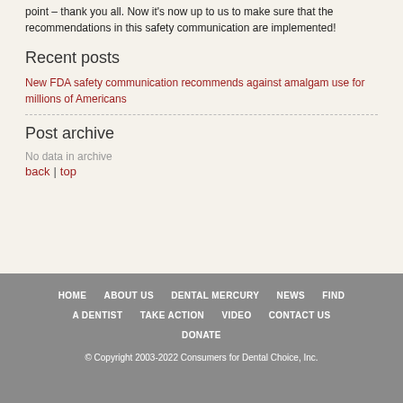point – thank you all. Now it's now up to us to make sure that the recommendations in this safety communication are implemented!
Recent posts
New FDA safety communication recommends against amalgam use for millions of Americans
Post archive
No data in archive
back | top
HOME   ABOUT US   DENTAL MERCURY   NEWS   FIND A DENTIST   TAKE ACTION   VIDEO   CONTACT US   DONATE
© Copyright 2003-2022 Consumers for Dental Choice, Inc.